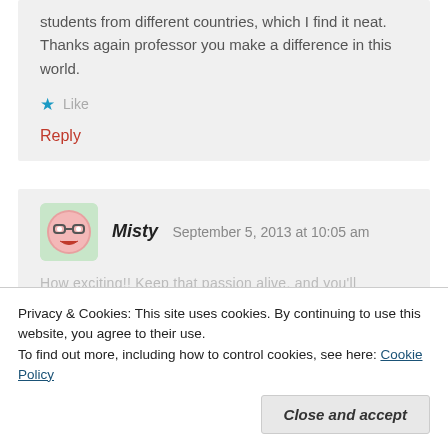students from different countries, which I find it neat. Thanks again professor you make a difference in this world.
Like
Reply
Misty  September 5, 2013 at 10:05 am
How exciting!! Keep that passion alive, and you'll
Reply
Privacy & Cookies: This site uses cookies. By continuing to use this website, you agree to their use.
To find out more, including how to control cookies, see here: Cookie Policy
Close and accept